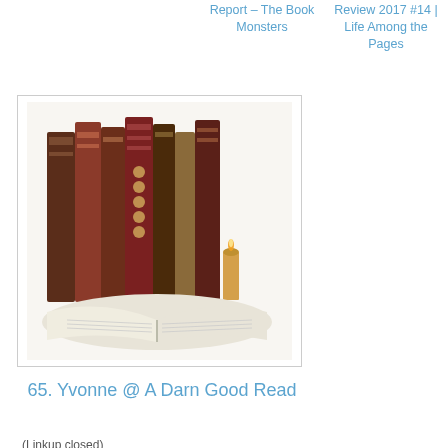Report – The Book Monsters    Review 2017 #14 | Life Among the Pages
[Figure (photo): Stack of antique leather-bound books with an open book in front and a small candle, framed with thin border]
65. Yvonne @ A Darn Good Read
(Linkup closed)
Kathryn T at 3:00 PM
Share
31 comments:
Nise'   April 10, 2017 at 3:02 PM